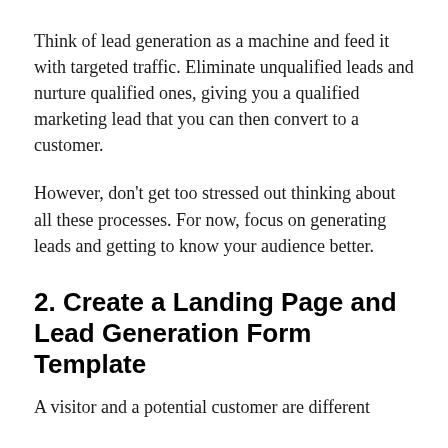Think of lead generation as a machine and feed it with targeted traffic. Eliminate unqualified leads and nurture qualified ones, giving you a qualified marketing lead that you can then convert to a customer.
However, don't get too stressed out thinking about all these processes. For now, focus on generating leads and getting to know your audience better.
2. Create a Landing Page and Lead Generation Form Template
A visitor and a potential customer are different